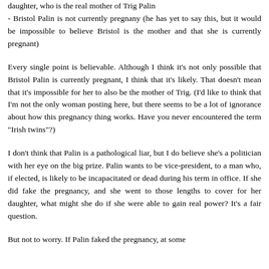daughter, who is the real mother of Trig Palin - Bristol Palin is not currently pregnany (he has yet to say this, but it would be impossible to believe Bristol is the mother and that she is currently pregnant)
Every single point is believable. Although I think it's not only possible that Bristol Palin is currently pregnant, I think that it's likely. That doesn't mean that it's impossible for her to also be the mother of Trig. (I'd like to think that I'm not the only woman posting here, but there seems to be a lot of ignorance about how this pregnancy thing works. Have you never encountered the term "Irish twins"?)
I don't think that Palin is a pathological liar, but I do believe she's a politician with her eye on the big prize. Palin wants to be vice-president, to a man who, if elected, is likely to be incapacitated or dead during his term in office. If she did fake the pregnancy, and she went to those lengths to cover for her daughter, what might she do if she were able to gain real power? It's a fair question.
But not to worry. If Palin faked the pregnancy, at some